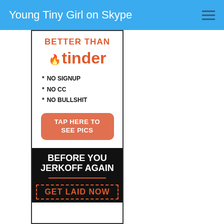Young Tiny Girl on Skype
[Figure (screenshot): Advertisement banner: 'BETTER THAN tinder * NO SIGNUP * NO CC * NO BULLSHIT TAP HERE TO SEE PICS BEFORE YOU JERKOFF AGAIN GET LAID NOW']